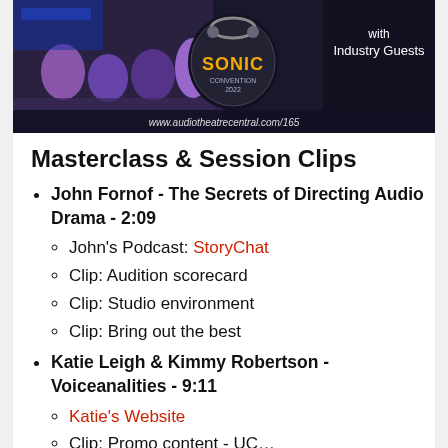[Figure (photo): Banner image showing people at a panel/event with 'Sonic' logo and text 'www.audiotheatrecentral.com/165', 'with Industry Guests' on dark background]
Masterclass & Session Clips
John Fornof - The Secrets of Directing Audio Drama - 2:09
John's Podcast: StoryChat
Clip: Audition scorecard
Clip: Studio environment
Clip: Bring out the best
Katie Leigh & Kimmy Robertson - Voiceanalities - 9:11
Katie's Website
Clip: Promo content - UC...